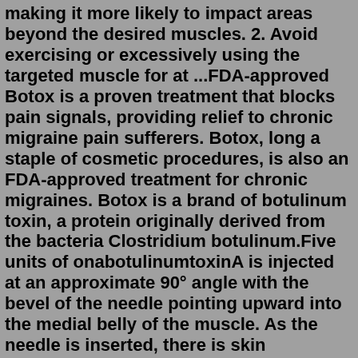making it more likely to impact areas beyond the desired muscles. 2. Avoid exercising or excessively using the targeted muscle for at ...FDA-approved Botox is a proven treatment that blocks pain signals, providing relief to chronic migraine pain sufferers. Botox, long a staple of cosmetic procedures, is also an FDA-approved treatment for chronic migraines. Botox is a brand of botulinum toxin, a protein originally derived from the bacteria Clostridium botulinum.Five units of onabotulinumtoxinA is injected at an approximate 90° angle with the bevel of the needle pointing upward into the medial belly of the muscle. As the needle is inserted, there is skin resistance, which lessens when the muscle is penetrated. This decrease in resistance is termed a muscle pop. What having Botox involves. Your face will be cleaned and botulinum toxin will be injected into muscles in your face using a very fine needle. You'll need injections in different places, depending on the area being treated. You'll be asked to move the muscles in your face to help find the best place for the